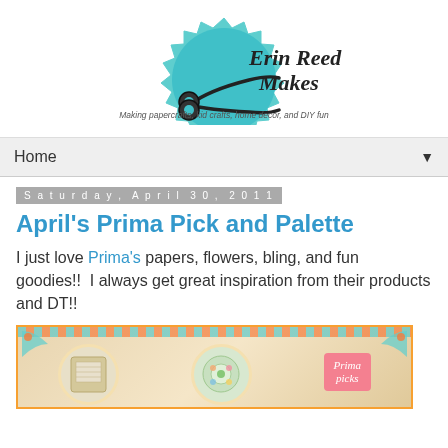[Figure (logo): Erin Reed Makes blog logo — teal starburst badge with scissors graphic and text 'Erin Reed Makes', subtitle 'Making papercrafts, kid crafts, home decor, and DIY fun']
Home ▼
Saturday, April 30, 2011
April's Prima Pick and Palette
I just love Prima's papers, flowers, bling, and fun goodies!!  I always get great inspiration from their products and DT!!
[Figure (photo): Craft/scrapbook product photo showing circular decorated items and a pink 'Prima Picks' label with decorative floral border]